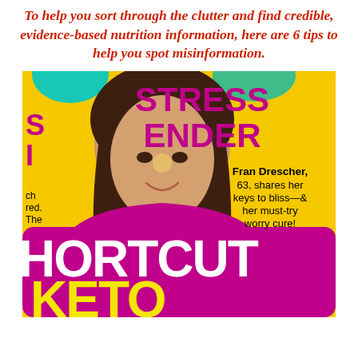To help you sort through the clutter and find credible, evidence-based nutrition information, here are 6 tips to help you spot misinformation.
[Figure (photo): Magazine cover showing a smiling woman (Fran Drescher) with text: STRESS ENDER, Fran Drescher 63 shares her keys to bliss and her must-try worry cure, SHORTCUT KETO]